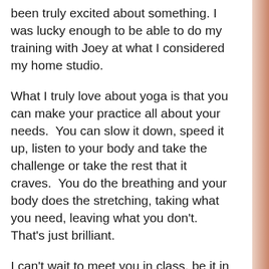been truly excited about something. I was lucky enough to be able to do my training with Joey at what I considered my home studio.
What I truly love about yoga is that you can make your practice all about your needs.  You can slow it down, speed it up, listen to your body and take the challenge or take the rest that it craves.  You do the breathing and your body does the stretching, taking what you need, leaving what you don't.  That's just brilliant.
I can't wait to meet you in class, be it in the studio or virtual.  I believe that no yoga class can happen without a smile and a laugh, come prepared to do both.
Remember, the world needs more yoga